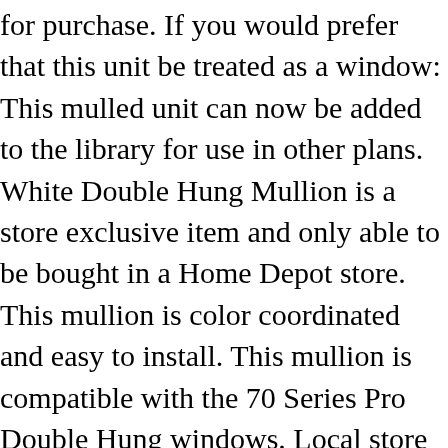for purchase. If you would prefer that this unit be treated as a window: This mulled unit can now be added to the library for use in other plans. White Double Hung Mullion is a store exclusive item and only able to be bought in a Home Depot store. This mullion is color coordinated and easy to install. This mullion is compatible with the 70 Series Pro Double Hung windows. Local store prices may vary from those displayed. The most common mulled … Thank you for your inquiry regarding the 50/70 65 in. The project consisted of a